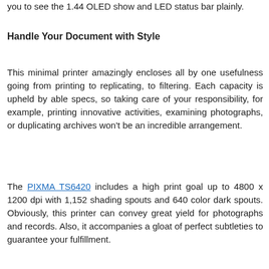you to see the 1.44 OLED show and LED status bar plainly.
Handle Your Document with Style
This minimal printer amazingly encloses all by one usefulness going from printing to replicating, to filtering. Each capacity is upheld by able specs, so taking care of your responsibility, for example, printing innovative activities, examining photographs, or duplicating archives won't be an incredible arrangement.
The PIXMA TS6420 includes a high print goal up to 4800 x 1200 dpi with 1,152 shading spouts and 640 color dark spouts. Obviously, this printer can convey great yield for photographs and records. Also, it accompanies a gloat of perfect subtleties to guarantee your fulfillment.